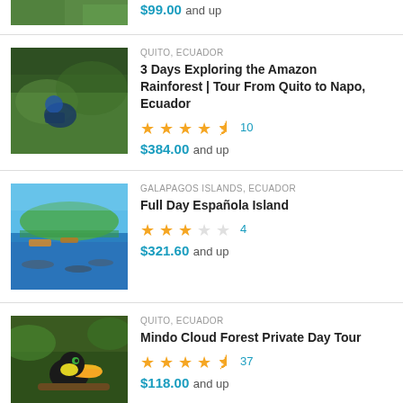[Figure (photo): Partial view of a nature/forest tour photo at top]
$99.00 and up
[Figure (photo): Person examining plants in amazon rainforest]
QUITO, ECUADOR
3 Days Exploring the Amazon Rainforest | Tour From Quito to Napo, Ecuador
★★★★½  10
$384.00 and up
[Figure (photo): Beach and ocean view at Galapagos Islands with dolphins]
GALAPAGOS ISLANDS, ECUADOR
Full Day Española Island
★★★☆☆  4
$321.60 and up
[Figure (photo): Toucan bird on branch in cloud forest]
QUITO, ECUADOR
Mindo Cloud Forest Private Day Tour
★★★★½  37
$118.00 and up